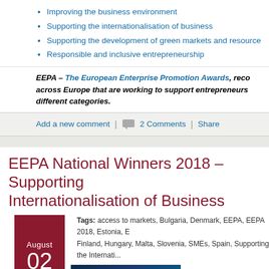Improving the business environment
Supporting the internationalisation of business
Supporting the development of green markets and resource
Responsible and inclusive entrepreneurship
EEPA – The European Enterprise Promotion Awards, recognises initiatives across Europe that are working to support entrepreneurs. different categories.
Add a new comment | 2 Comments | Share
EEPA National Winners 2018 – Supporting Internationalisation of Business
Tags: access to markets, Bulgaria, Denmark, EEPA, EEPA 2018, Estonia, Finland, Hungary, Malta, Slovenia, SMEs, Spain, Supporting the Internati...
[Figure (photo): European Enterprise Promotion Awards 2018 banner image with blue technology background and text 'SUPPORTING THE INTERNATIONALISATION']